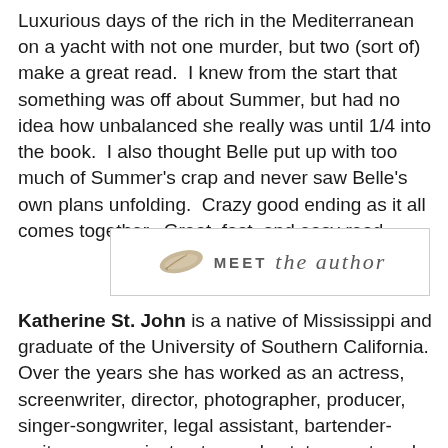Luxurious days of the rich in the Mediterranean on a yacht with not one murder, but two (sort of) make a great read.  I knew from the start that something was off about Summer, but had no idea how unbalanced she really was until 1/4 into the book.  I also thought Belle put up with too much of Summer's crap and never saw Belle's own plans unfolding.  Crazy good ending as it all comes together.  Great, fast, and easy read.
[Figure (illustration): A decorative banner with a feather/quill illustration on the left and the text 'MEET the author' in mixed uppercase and script lettering, inside a rectangular border.]
Katherine St. John is a native of Mississippi and graduate of the University of Southern California. Over the years she has worked as an actress, screenwriter, director, photographer, producer, singer-songwriter, legal assistant, bartender-waitress, yoga instructor, real estate agent, and travel coordinator . . . but finds she likes writing novels best. Katherine currently lives in Los Angeles with her husband